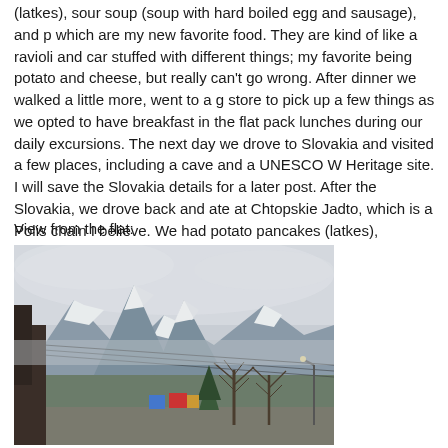(latkes), sour soup (soup with hard boiled egg and sausage), and pierogis which are my new favorite food. They are kind of like a ravioli and can be stuffed with different things; my favorite being potato and cheese, but you really can't go wrong. After dinner we walked a little more, went to a grocery store to pick up a few things as we opted to have breakfast in the flat and pack lunches during our daily excursions. The next day we drove to Slovakia and visited a few places, including a cave and a UNESCO World Heritage site. I will save the Slovakia details for a later post. After the Slovakia, we drove back and ate at Chtopskie Jadto, which is a Polish chain I believe. We had potato pancakes (latkes), golumpki (stuffed cabbage), and more pierogis.
View from the flat:
[Figure (photo): View of snow-capped mountains in winter, with bare trees in the foreground and a street scene visible. Taken from a flat window.]